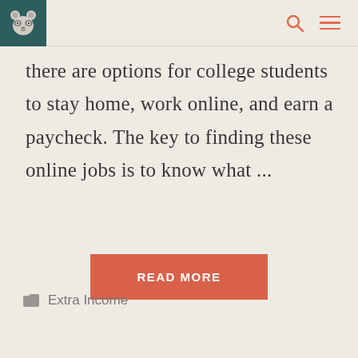there are options for college students to stay home, work online, and earn a paycheck. The key to finding these online jobs is to know what ...
READ MORE
Extra Income